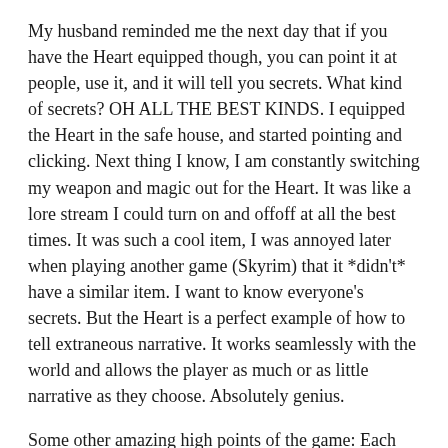My husband reminded me the next day that if you have the Heart equipped though, you can point it at people, use it, and it will tell you secrets. What kind of secrets? OH ALL THE BEST KINDS. I equipped the Heart in the safe house, and started pointing and clicking. Next thing I know, I am constantly switching my weapon and magic out for the Heart. It was like a lore stream I could turn on and off at all the best times. It was such a cool item, I was annoyed later when playing another game (Skyrim) that it *didn't* have a similar item. I want to know everyone's secrets. But the Heart is a perfect example of how to tell extraneous narrative. It works seamlessly with the world and allows the player as much or as little narrative as they choose. Absolutely genius.
Some other amazing high points of the game: Each assassination target has a “non-lethal” way of being dealt with, most of which feel strongly of poetic justice. So many paths through each level, it’s almost impossible to find them all. Powers and abilities that are just fun to play with on their